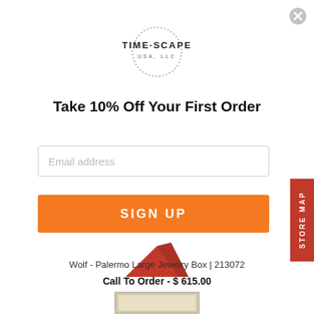[Figure (logo): Timescape USA LLC circular logo with dotted border]
Take 10% Off Your First Order
Email address
SIGN UP
Wolf - Palermo Large Jewelry Box | 213072
Call To Order - $ 615.00
[Figure (photo): Partial view of a red jewelry box]
[Figure (photo): Partial view of a second product (light colored box)]